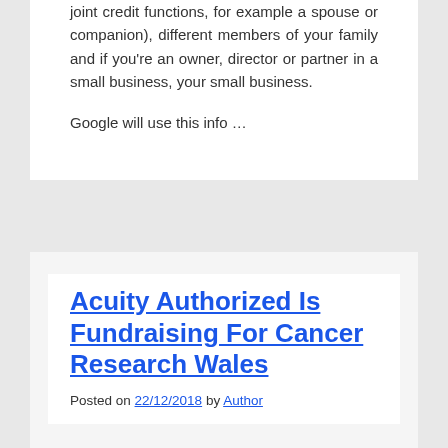joint credit functions, for example a spouse or companion), different members of your family and if you're an owner, director or partner in a small business, your small business.
Google will use this info …
Acuity Authorized Is Fundraising For Cancer Research Wales
Posted on 22/12/2018 by Author